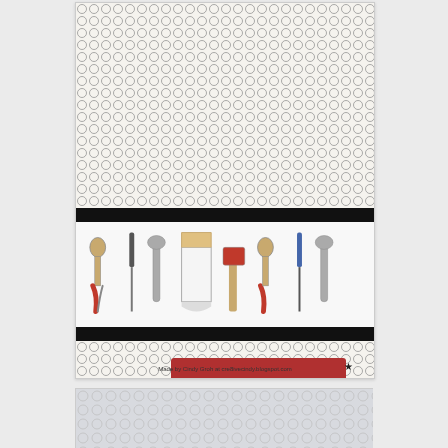[Figure (photo): A handmade greeting card with a chicken-wire/hexagon patterned background paper in off-white. A horizontal band of tools (pliers, screwdriver, adjustable wrench, handsaw, hammer, pliers, screwdriver, wrench) is displayed between two black ribbon/washi tape strips. Below, a red rectangular tag reads 'it's time to Celebrate' with decorative stars on the right edge. Bottom text reads 'Made by Cindy Groh at cre8ivecindy.blogspot.com'.]
[Figure (photo): Partial view of a second handmade card (partially cut off at bottom of page), showing a light gray/silver patterned background with a red rectangular element at the bottom center.]